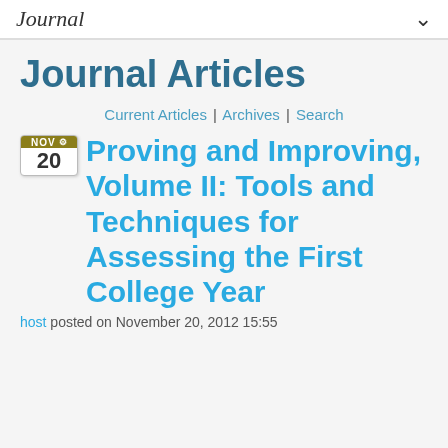Journal
Journal Articles
Current Articles | Archives | Search
Proving and Improving, Volume II: Tools and Techniques for Assessing the First College Year
host posted on November 20, 2012 15:55